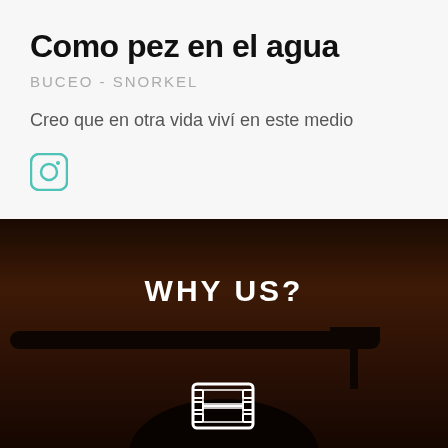Como pez en el agua
BUCEO - SNORKEL
Creo que en otra vida viví en este medio
[Figure (logo): Instagram icon in teal/green color]
[Figure (photo): Dark reddish-brown background with silhouette of camera equipment bar/arm and a person's head at the bottom. White text reads WHY US? and a film reel icon is visible.]
WHY US?